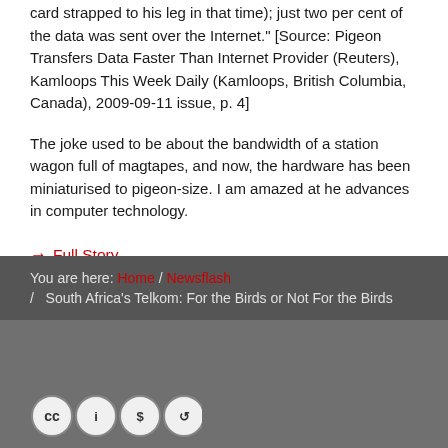card strapped to his leg in that time); just two per cent of the data was sent over the Internet." [Source: Pigeon Transfers Data Faster Than Internet Provider (Reuters), Kamloops This Week Daily (Kamloops, British Columbia, Canada), 2009-09-11 issue, p. 4]
The joke used to be about the bandwidth of a station wagon full of magtapes, and now, the hardware has been miniaturised to pigeon-size. I am amazed at he advances in computer technology.
→ Full Story
You are here: Home / Newsflash / South Africa's Telkom: For the Birds or Not For the Birds